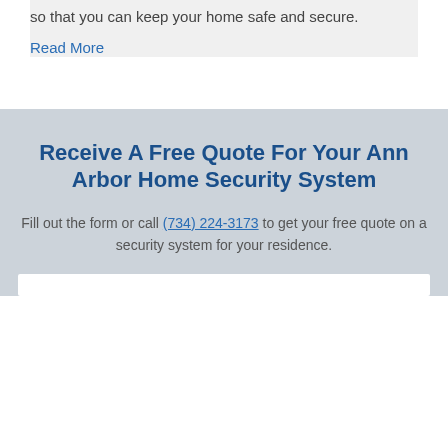so that you can keep your home safe and secure.
Read More
Receive A Free Quote For Your Ann Arbor Home Security System
Fill out the form or call (734) 224-3173 to get your free quote on a security system for your residence.